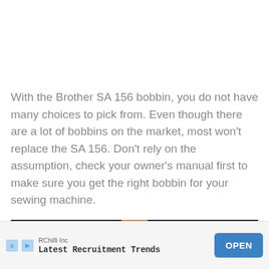With the Brother SA 156 bobbin, you do not have many choices to pick from. Even though there are a lot of bobbins on the market, most won't replace the SA 156. Don't rely on the assumption, check your owner's manual first to make sure you get the right bobbin for your sewing machine.
[Figure (photo): Partial photo strip showing a person's head/face, dark background, cropped at bottom of page]
RChilli Inc
Latest Recruitment Trends
OPEN